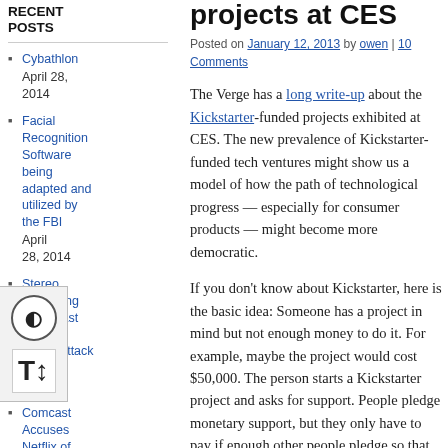RECENT POSTS
Cybathlon April 28, 2014
Facial Recognition Software being adapted and utilized by the FBI April 28, 2014
Stereo Streaming Broadcast Service Under Attack April 28, 2014
Comcast Accuses Netflix of
projects at CES
Posted on January 12, 2013 by owen | 10 Comments
The Verge has a long write-up about the Kickstarter-funded projects exhibited at CES. The new prevalence of Kickstarter-funded tech ventures might show us a model of how the path of technological progress — especially for consumer products — might become more democratic.
If you don't know about Kickstarter, here is the basic idea: Someone has a project in mind but not enough money to do it. For example, maybe the project would cost $50,000. The person starts a Kickstarter project and asks for support. People pledge monetary support, but they only have to pay if enough other people pledge so that the project reaches its threshold, in this case